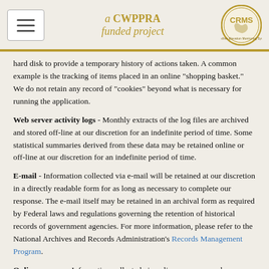a CWPPRA funded project
hard disk to provide a temporary history of actions taken. A common example is the tracking of items placed in an online "shopping basket." We do not retain any record of "cookies" beyond what is necessary for running the application.
Web server activity logs - Monthly extracts of the log files are archived and stored off-line at our discretion for an indefinite period of time. Some statistical summaries derived from these data may be retained online or off-line at our discretion for an indefinite period of time.
E-mail - Information collected via e-mail will be retained at our discretion in a directly readable form for as long as necessary to complete our response. The e-mail itself may be retained in an archival form as required by Federal laws and regulations governing the retention of historical records of government agencies. For more information, please refer to the National Archives and Records Administration's Records Management Program.
Online surveys - Information collected via online surveys may be